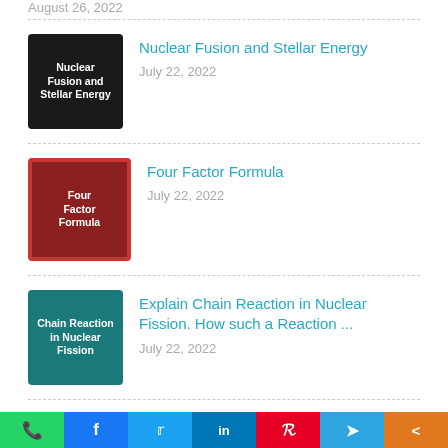August 26, 2022
[Figure (illustration): Thumbnail for Nuclear Fusion and Stellar Energy post - dark background with white text]
Nuclear Fusion and Stellar Energy
July 22, 2022
[Figure (illustration): Thumbnail for Four Factor Formula post - dark red background with white text]
Four Factor Formula
July 22, 2022
[Figure (illustration): Thumbnail for Chain Reaction in Nuclear Fission post - teal background with white text]
Explain Chain Reaction in Nuclear Fission. How such a Reaction ...
July 22, 2022
[Figure (illustration): Thumbnail for Short Note on Particle Accelerator post - blue gradient background]
Short Note on Particle Accelerator
July 22, 2022
HISTORY RECENT POSTS